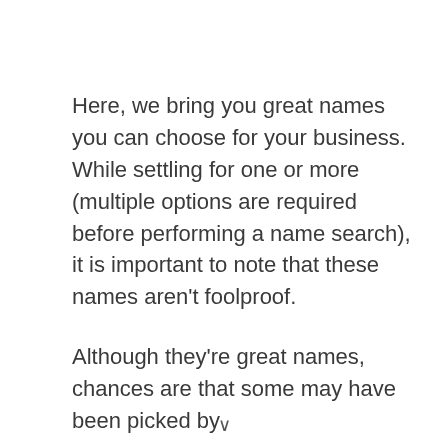Here, we bring you great names you can choose for your business. While settling for one or more (multiple options are required before performing a name search), it is important to note that these names aren't foolproof.
Although they're great names, chances are that some may have been picked by